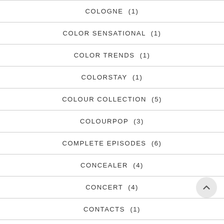COLOGNE (1)
COLOR SENSATIONAL (1)
COLOR TRENDS (1)
COLORSTAY (1)
COLOUR COLLECTION (5)
COLOURPOP (3)
COMPLETE EPISODES (6)
CONCEALER (4)
CONCERT (4)
CONTACTS (1)